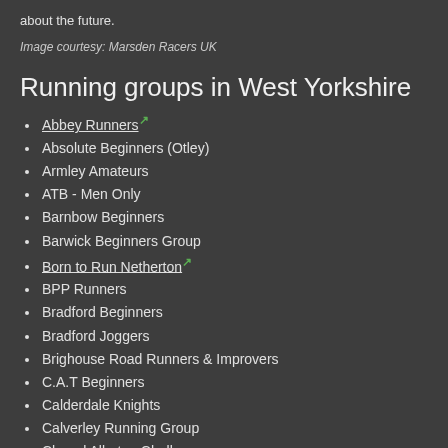about the future.
Image courtesy: Marsden Racers UK
Running groups in West Yorkshire
Abbey Runners
Absolute Beginners (Otley)
Armley Amateurs
ATB - Men Only
Barnbow Beginners
Barwick Beginners Group
Born to Run Netherton
BPP Runners
Bradford Beginners
Bradford Joggers
Brighouse Road Runners & Improvers
C.A.T Beginners
Calderdale Knights
Calverley Running Group
Chapel Allerton Challengers
Chapel Allerton Runners,
Clayton West Runners